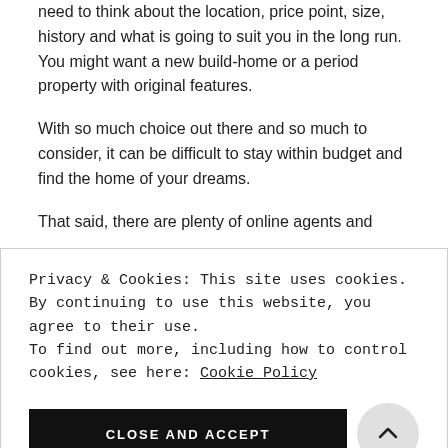need to think about the location, price point, size, history and what is going to suit you in the long run. You might want a new build-home or a period property with original features.
With so much choice out there and so much to consider, it can be difficult to stay within budget and find the home of your dreams.
That said, there are plenty of online agents and
Privacy & Cookies: This site uses cookies. By continuing to use this website, you agree to their use.
To find out more, including how to control cookies, see here: Cookie Policy
CLOSE AND ACCEPT